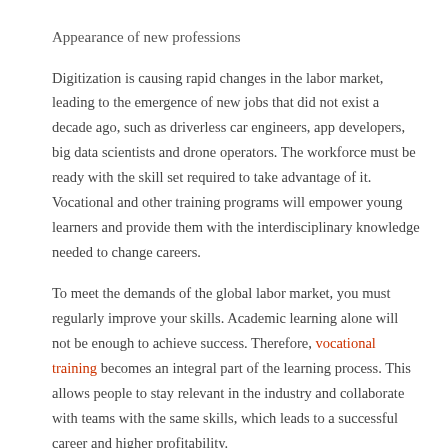Appearance of new professions
Digitization is causing rapid changes in the labor market, leading to the emergence of new jobs that did not exist a decade ago, such as driverless car engineers, app developers, big data scientists and drone operators. The workforce must be ready with the skill set required to take advantage of it. Vocational and other training programs will empower young learners and provide them with the interdisciplinary knowledge needed to change careers.
To meet the demands of the global labor market, you must regularly improve your skills. Academic learning alone will not be enough to achieve success. Therefore, vocational training becomes an integral part of the learning process. This allows people to stay relevant in the industry and collaborate with teams with the same skills, which leads to a successful career and higher profitability.